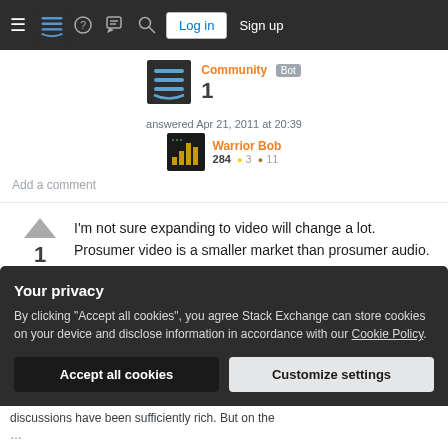Stack Exchange — hamburger menu, logo, help, chat, search, Log in, Sign up
Community Bot 1
answered Apr 21, 2011 at 20:39
Warrior Bob 284 ●3 ●11
Add a comment
I'm not sure expanding to video will change a lot. Prosumer video is a smaller market than prosumer audio.
Your privacy
By clicking "Accept all cookies", you agree Stack Exchange can store cookies on your device and disclose information in accordance with our Cookie Policy.
Accept all cookies  Customize settings
discussions have been sufficiently rich. But on the